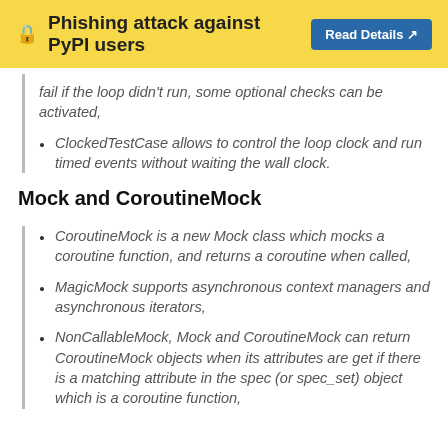🔒 Phishing attack against PyPI users | Read Details ↗
fail if the loop didn't run, some optional checks can be activated,
ClockedTestCase allows to control the loop clock and run timed events without waiting the wall clock.
Mock and CoroutineMock
CoroutineMock is a new Mock class which mocks a coroutine function, and returns a coroutine when called,
MagicMock supports asynchronous context managers and asynchronous iterators,
NonCallableMock, Mock and CoroutineMock can return CoroutineMock objects when its attributes are get if there is a matching attribute in the spec (or spec_set) object which is a coroutine function,